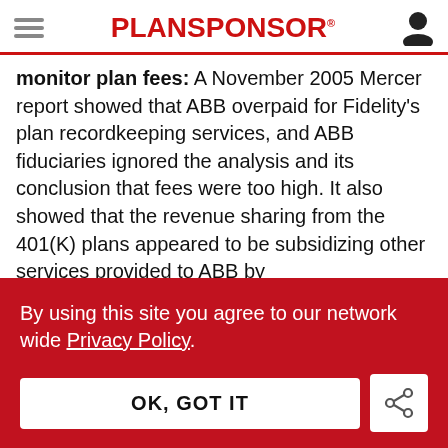PLANSPONSOR
monitor plan fees: A November 2005 Mercer report showed that ABB overpaid for Fidelity's plan recordkeeping services, and ABB fiduciaries ignored the analysis and its conclusion that fees were too high. It also showed that the revenue sharing from the 401(K) plans appeared to be subsidizing other services provided to ABB by
By using this site you agree to our network wide Privacy Policy.
OK, GOT IT